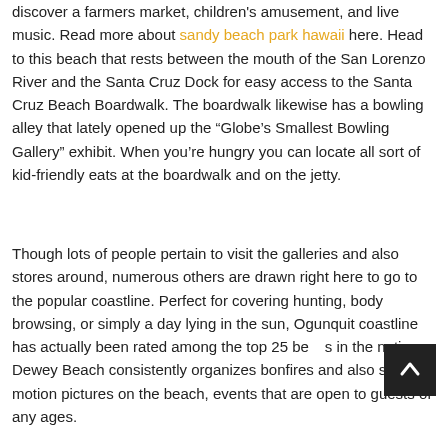discover a farmers market, children's amusement, and live music. Read more about sandy beach park hawaii here. Head to this beach that rests between the mouth of the San Lorenzo River and the Santa Cruz Dock for easy access to the Santa Cruz Beach Boardwalk. The boardwalk likewise has a bowling alley that lately opened up the “Globe’s Smallest Bowling Gallery” exhibit. When you’re hungry you can locate all sort of kid-friendly eats at the boardwalk and on the jetty.
Though lots of people pertain to visit the galleries and also stores around, numerous others are drawn right here to go to the popular coastline. Perfect for covering hunting, body browsing, or simply a day lying in the sun, Ogunquit coastline has actually been rated among the top 25 beaches in the nation. Dewey Beach consistently organizes bonfires and also screens motion pictures on the beach, events that are open to guests of any ages.